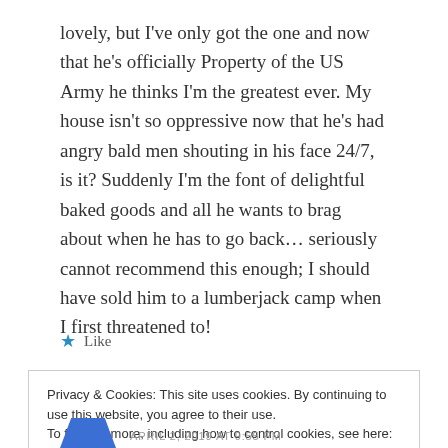lovely, but I've only got the one and now that he's officially Property of the US Army he thinks I'm the greatest ever. My house isn't so oppressive now that he's had angry bald men shouting in his face 24/7, is it? Suddenly I'm the font of delightful baked goods and all he wants to brag about when he has to go back… seriously cannot recommend this enough; I should have sold him to a lumberjack camp when I first threatened to!
★ Like
Privacy & Cookies: This site uses cookies. By continuing to use this website, you agree to their use.
To find out more, including how to control cookies, see here: Cookie Policy
Close and accept
APRIL 2, 2019 AT 9:55 PM